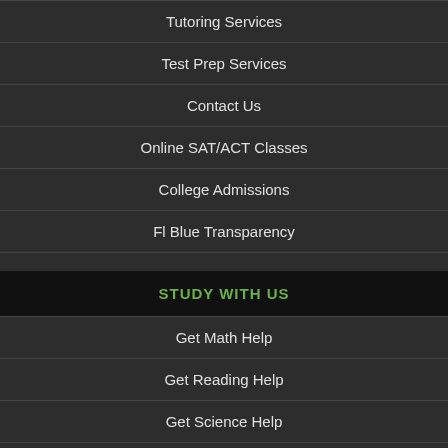Tutoring Services
Test Prep Services
Contact Us
Online SAT/ACT Classes
College Admissions
Fl Blue Transparency
STUDY WITH US
Get Math Help
Get Reading Help
Get Science Help
Get ACT Help
Get SAT Help